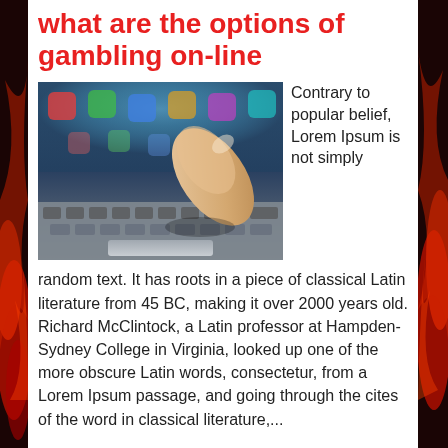what are the options of gambling on-line
[Figure (photo): Close-up photo of a finger pressing on a laptop touchpad/keyboard, seen from above at an angle. The keyboard keys are lit with colorful app icons visible on a blurred screen in the background.]
Contrary to popular belief, Lorem Ipsum is not simply random text. It has roots in a piece of classical Latin literature from 45 BC, making it over 2000 years old. Richard McClintock, a Latin professor at Hampden-Sydney College in Virginia, looked up one of the more obscure Latin words, consectetur, from a Lorem Ipsum passage, and going through the cites of the word in classical literature,...